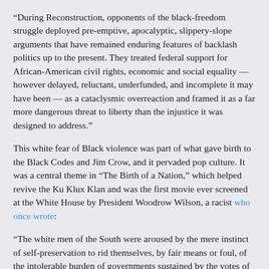“During Reconstruction, opponents of the black-freedom struggle deployed pre-emptive, apocalyptic, slippery-slope arguments that have remained enduring features of backlash politics up to the present. They treated federal support for African-American civil rights, economic and social equality — however delayed, reluctant, underfunded, and incomplete it may have been — as a cataclysmic overreaction and framed it as a far more dangerous threat to liberty than the injustice it was designed to address.”
This white fear of Black violence was part of what gave birth to the Black Codes and Jim Crow, and it pervaded pop culture. It was a central theme in “The Birth of a Nation,” which helped revive the Ku Klux Klan and was the first movie ever screened at the White House by President Woodrow Wilson, a racist who once wrote:
“The white men of the South were aroused by the mere instinct of self-preservation to rid themselves, by fair means or foul, of the intolerable burden of governments sustained by the votes of ignorant Negroes and conducted in the interest of adventurers.” More recently, white fear of Black violence and Black dominance has lead to misguided urban policies, white flight from urban areas, the rise of the urban cliff, white conservative...